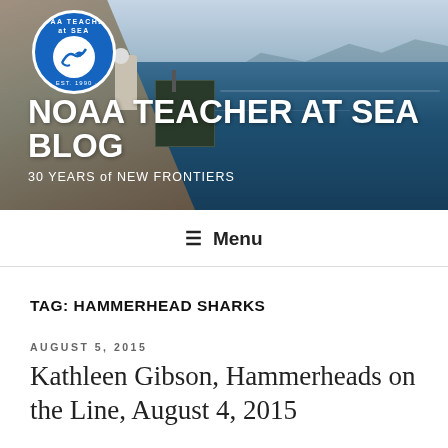[Figure (photo): NOAA Teacher at Sea blog header photo showing a research vessel deck with crew members and ocean equipment, blue ocean and mountain silhouette in background. NOAA Teacher at Sea circular logo in top left.]
NOAA TEACHER AT SEA BLOG
30 YEARS of NEW FRONTIERS
Menu
TAG: HAMMERHEAD SHARKS
AUGUST 5, 2015
Kathleen Gibson, Hammerheads on the Line, August 4, 2015